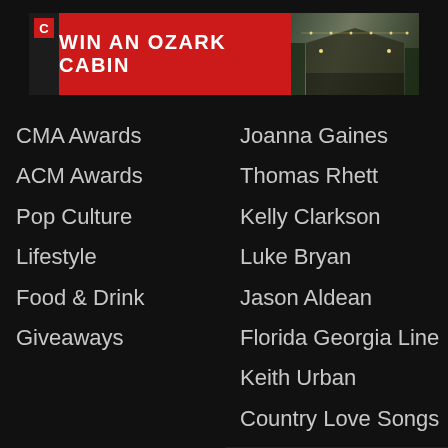[Figure (screenshot): Advertisement banner: red button with white text 'WIN AN OZARK CABIN' and cabin photo on right, with logo on left]
CMA Awards
ACM Awards
Pop Culture
Lifestyle
Food & Drink
Giveaways
Joanna Gaines
Thomas Rhett
Kelly Clarkson
Luke Bryan
Jason Aldean
Florida Georgia Line
Keith Urban
Country Love Songs
Lifestyle
Fashion
Beauty
People
[Figure (screenshot): Video player controls overlay on crowd background: blue play button icon and mute icon]